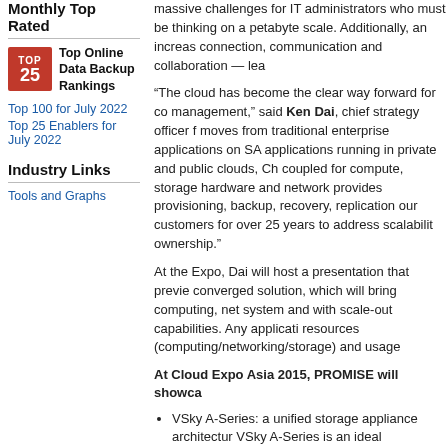Monthly Top Rated
[Figure (logo): TOP 25 red badge logo]
Top Online Data Backup Rankings
Top 100 for July 2022
Top 25 Enablers for July 2022
Industry Links
Tools and Graphs
massive challenges for IT administrators who must be thinking on a petabyte scale. Additionally, an increase in connection, communication and collaboration — lea
“The cloud has become the clear way forward for co management,” said Ken Dai, chief strategy officer f moves from traditional enterprise applications on SA applications running in private and public clouds, Ch coupled for compute, storage hardware and network provides provisioning, backup, recovery, replication our customers for over 25 years to address scalability ownership.”
At the Expo, Dai will host a presentation that previe converged solution, which will bring computing, net system and with scale-out capabilities. Any applicati resources (computing/networking/storage) and usage
At Cloud Expo Asia 2015, PROMISE will showca
VSky A-Series: a unified storage appliance architectur VSky A-Series is an ideal backup/archive solution that
FileCruiser 2.0: an EFSS solution that allows business When paired with the VSky A-Series, FileCruiser alloy scale.
For more information, visit www.promise.com. You on LinkedIn, Facebook and Twitter.